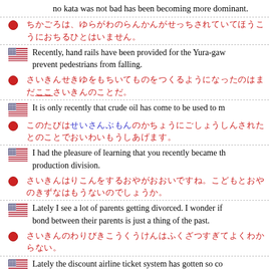no kata was not bad has been becoming more dominant.
Japanese: [Japanese text] | English: Recently, hand rails have been provided for the Yura-gawa to prevent pedestrians from falling.
Japanese: [Japanese text with highlight] | English: It is only recently that crude oil has come to be used to m...
Japanese: [Japanese text with highlight] | English: I had the pleasure of learning that you recently became the production division.
Japanese: [Japanese text] | English: Lately I see a lot of parents getting divorced. I wonder if bond between their parents is just a thing of the past.
Japanese: [Japanese text] | English: Lately the discount airline ticket system has gotten so co... lot about it I can't figure out.
Japanese: [Japanese text with highlight] | English: The B... ...